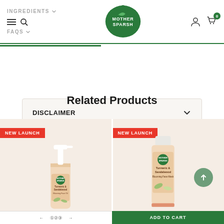[Figure (screenshot): Mother Sparsh website header with navigation links (INGREDIENTS, FAQS), hamburger menu, search icon, Mother Sparsh logo (green leaf shape), user icon, and cart icon with badge showing 0]
DISCLAIMER
Related Products
[Figure (photo): Product card with NEW LAUNCH badge showing Turmeric & Sandalwood Blooming Face Oil by Mother Sparsh in a pump bottle]
[Figure (photo): Product card with NEW LAUNCH badge showing Turmeric & Sandalwood Blooming Face Mask by Mother Sparsh in a tube]
ADD TO CART